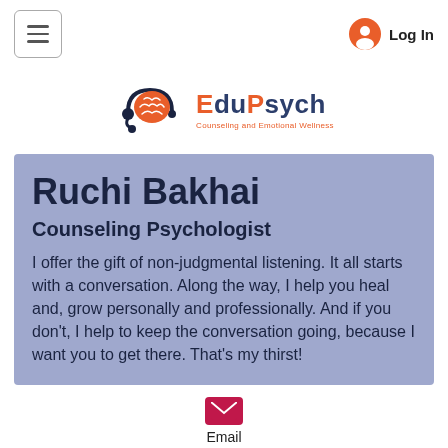[Figure (logo): Hamburger menu icon with three horizontal lines inside a rounded rectangle border]
[Figure (logo): User account icon (orange circle with person silhouette) and Log In text]
[Figure (logo): EduPsych logo: orange brain with headset, text EduPsych and tagline Counseling and Emotional Wellness]
Ruchi Bakhai
Counseling Psychologist
I offer the gift of non-judgmental listening. It all starts with a conversation. Along the way, I help you heal and, grow personally and professionally. And if you don't, I help to keep the conversation going, because I want you to get there. That's my thirst!
[Figure (logo): Pink/red email envelope icon]
Email